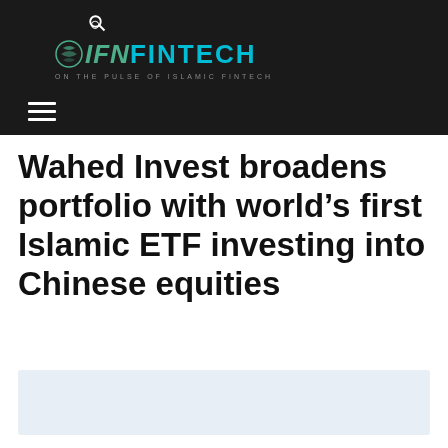IFN FINTECH — ON THE PULSE OF ISLAMIC FINTECH
Wahed Invest broadens portfolio with world's first Islamic ETF investing into Chinese equities
[Figure (other): Light blue advertisement placeholder box at the bottom of the page]